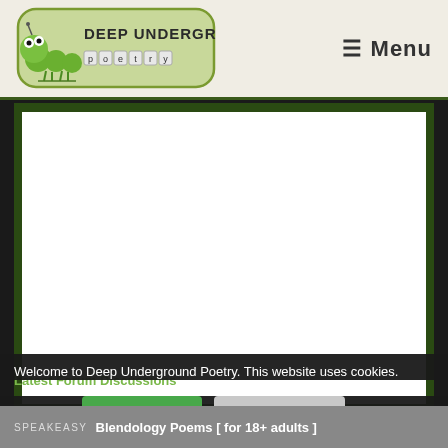Deep Underground Poetry  ☰ Menu
[Figure (screenshot): White rectangle advertisement area on dark green background]
Welcome to Deep Underground Poetry. This website uses cookies.
Latest Forum Discussions
✓ Continue
Find Out More
SPEAKEASY: Blendology Poems [ for 18+ adults ]